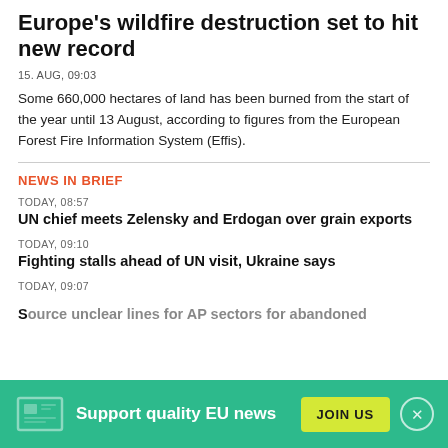Europe's wildfire destruction set to hit new record
15. AUG, 09:03
Some 660,000 hectares of land has been burned from the start of the year until 13 August, according to figures from the European Forest Fire Information System (Effis).
NEWS IN BRIEF
TODAY, 08:57
UN chief meets Zelensky and Erdogan over grain exports
TODAY, 09:10
Fighting stalls ahead of UN visit, Ukraine says
TODAY, 09:07
Support quality EU news
JOIN US